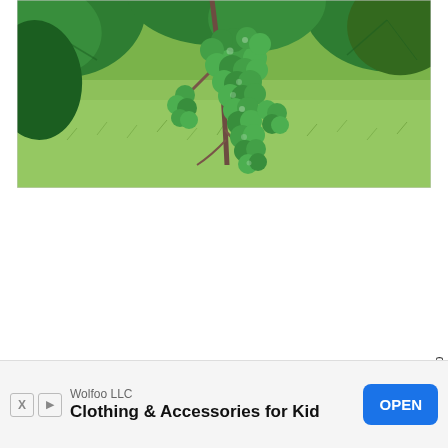[Figure (photo): Photo of green grape clusters hanging from a grapevine with large green leaves, with a grassy lawn visible in the background.]
Scroll To Top
Wolfoo LLC
Clothing & Accessories for Kid
OPEN